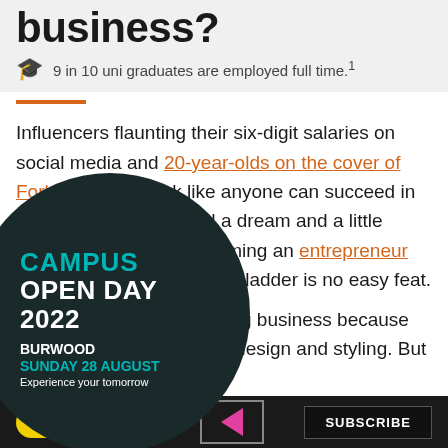business?
9 in 10 uni graduates are employed full time.¹
Influencers flaunting their six-digit salaries on social media and 20-year-olds on the cover of Forbes make it look like anyone can succeed in business. You just need a dream and a little ambition, right? But becoming an entrepreneur and climbing the corporate ladder is no easy feat.
...a great idea for a wedding business because you've got a great eye for design and styling. But how are your skills in
[Figure (infographic): Dark circular popup overlay for Campus Open Day 2022, Burwood, Sunday 28 August. Contains Register Now button and Experience your tomorrow tagline.]
CAMPUS OPEN DAY 2022 BURWOOD SUNDAY 28 AUGUST Experience your tomorrow
REGISTER NOW
SUBSCRIBE